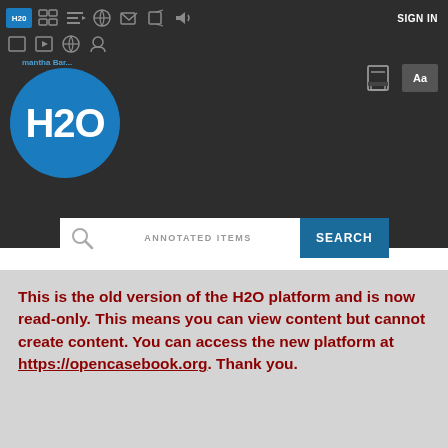[Figure (screenshot): H2O platform navigation bar with dark background, H2O badge, various toolbar icons, and SIGN IN link on the right]
[Figure (screenshot): User profile area showing a blue circle with H2O text and username 'Samantha Bar...' above it. Top right has print and Aa buttons.]
[Figure (screenshot): Search bar with magnifying glass icon, 'ANNOTATED ITEMS' label, and a blue SEARCH button]
This is the old version of the H2O platform and is now read-only. This means you can view content but cannot create content. You can access the new platform at https://opencasebook.org. Thank you.